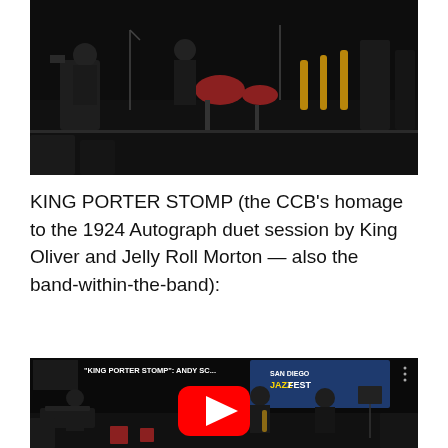[Figure (photo): Band performing on stage with instruments including saxophones, trumpets, and drums visible in a dark venue setting.]
KING PORTER STOMP (the CCB's homage to the 1924 Autograph duet session by King Oliver and Jelly Roll Morton — also the band-within-the-band):
[Figure (screenshot): YouTube video thumbnail showing 'KING PORTER STOMP: ANDY SC...' with San Diego Jazz Fest banner visible. Musicians on stage with piano player on left, saxophonist and another musician on right. YouTube play button overlay in center.]